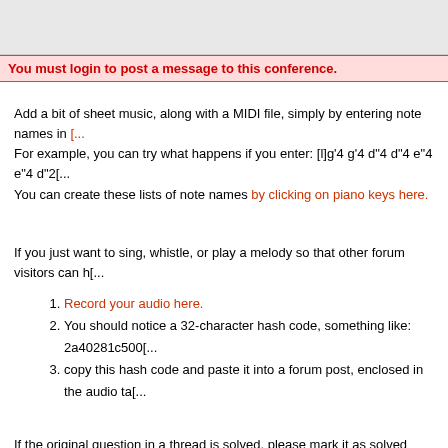You must login to post a message to this conference.
Add a bit of sheet music, along with a MIDI file, simply by entering note names in [...] For example, you can try what happens if you enter: [l]g'4 g'4 d"4 d"4 e"4 e"4 d"2[...] You can create these lists of note names by clicking on piano keys here.
If you just want to sing, whistle, or play a melody so that other forum visitors can h[...]
Record your audio here.
You should notice a 32-character hash code, something like: 2a40281c500[...]
copy this hash code and paste it into a forum post, enclosed in the audio ta[...]
If the original question in a thread is solved, please mark it as solved using the "so[...] willing to identify melodies, since unsolved problems are easier to spot that way. If [...] will be labeled accordingly.